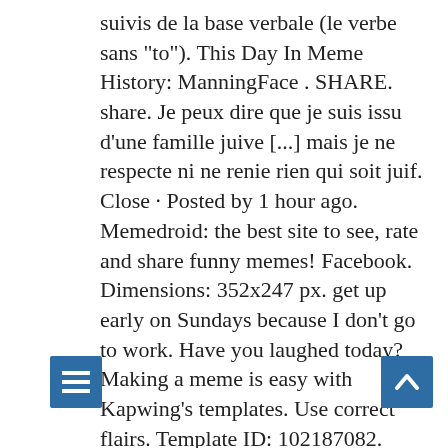suivis de la base verbale (le verbe sans "to"). This Day In Meme History: ManningFace . SHARE. share. Je peux dire que je suis issu d'une famille juive [...] mais je ne respecte ni ne renie rien qui soit juif. Close · Posted by 1 hour ago. Memedroid: the best site to see, rate and share funny memes! Facebook. Dimensions: 352x247 px. get up early on Sundays because I don't go to work. Have you laughed today? Making a meme is easy with Kapwing's templates. Use correct flairs. Template ID: 102187082. Discover more posts about i-rly-want-to-make-gifsets-and-that-color-palette-meme-but-i-don't-have-much-time-rn-;A;. 289k. The concept of a new meme making its way around Twitter is to simply tweet: "I don't know who needs to hear this," followed by a piece of friendly advice. You're watching the official music video for